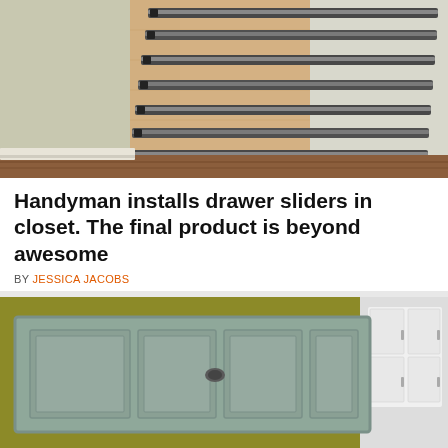[Figure (photo): Wall-mounted drawer slides installed on a wooden board leaning against a closet corner, showing multiple parallel metal drawer sliders, with hardwood floor visible at the bottom.]
Handyman installs drawer sliders in closet. The final product is beyond awesome
BY JESSICA JACOBS
[Figure (photo): A gray painted wooden door panel laid horizontally against a yellow-green painted wall, with white kitchen cabinets visible on the right side.]
© DIY Everywhere   About Ads   Terms   Privacy   Do Not Sell My Info